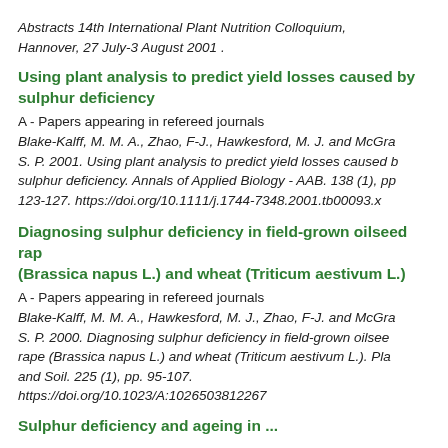Abstracts 14th International Plant Nutrition Colloquium, Hannover, 27 July-3 August 2001 .
Using plant analysis to predict yield losses caused by sulphur deficiency
A - Papers appearing in refereed journals
Blake-Kalff, M. M. A., Zhao, F-J., Hawkesford, M. J. and McGra S. P. 2001. Using plant analysis to predict yield losses caused b sulphur deficiency. Annals of Applied Biology - AAB. 138 (1), pp 123-127. https://doi.org/10.1111/j.1744-7348.2001.tb00093.x
Diagnosing sulphur deficiency in field-grown oilseed rap (Brassica napus L.) and wheat (Triticum aestivum L.)
A - Papers appearing in refereed journals
Blake-Kalff, M. M. A., Hawkesford, M. J., Zhao, F-J. and McGra S. P. 2000. Diagnosing sulphur deficiency in field-grown oilsee rape (Brassica napus L.) and wheat (Triticum aestivum L.). Pla and Soil. 225 (1), pp. 95-107. https://doi.org/10.1023/A:1026503812267